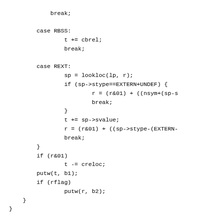Source code fragment showing switch cases (RBSS, REXT) and finishout() function definition with register and conditional logic.